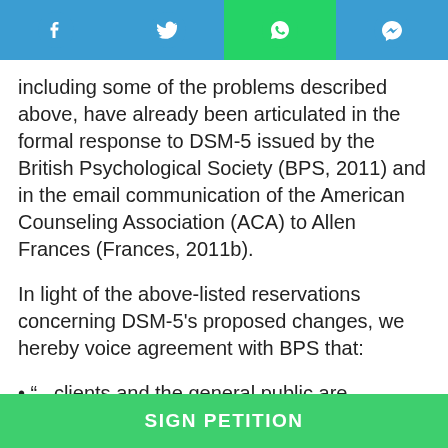[Figure (other): Social media share bar with Facebook, Twitter, WhatsApp, and Messenger icons]
including some of the problems described above, have already been articulated in the formal response to DSM-5 issued by the British Psychological Society (BPS, 2011) and in the email communication of the American Counseling Association (ACA) to Allen Frances (Frances, 2011b).
In light of the above-listed reservations concerning DSM-5’s proposed changes, we hereby voice agreement with BPS that:
• “...clients and the general public are negatively affected by the continued and continuous medicalization of their natural and normal
SIGN PETITION